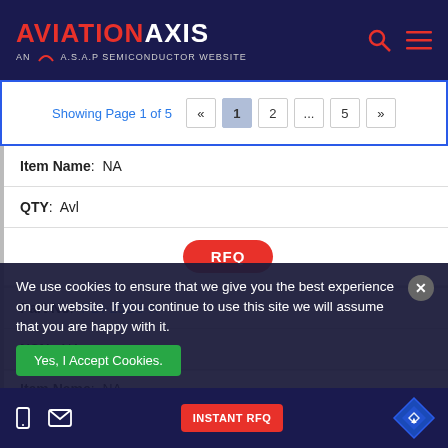AVIATION AXIS — AN A.S.A.P SEMICONDUCTOR WEBSITE
Showing Page 1 of 5 « 1 2 ... 5 »
| Field | Value |
| --- | --- |
| Item Name | NA |
| QTY | Avl |
|  | RFQ |
| Part No | PDI-25SS-H |
| NSN | NA |
| Item Name | NA |
We use cookies to ensure that we give you the best experience on our website. If you continue to use this site we will assume that you are happy with it.
Yes, I Accept Cookies.